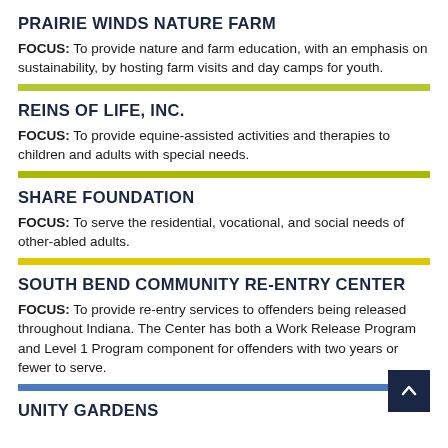PRAIRIE WINDS NATURE FARM
FOCUS: To provide nature and farm education, with an emphasis on sustainability, by hosting farm visits and day camps for youth.
REINS OF LIFE, INC.
FOCUS: To provide equine-assisted activities and therapies to children and adults with special needs.
SHARE FOUNDATION
FOCUS: To serve the residential, vocational, and social needs of other-abled adults.
SOUTH BEND COMMUNITY RE-ENTRY CENTER
FOCUS: To provide re-entry services to offenders being released throughout Indiana. The Center has both a Work Release Program and Level 1 Program component for offenders with two years or fewer to serve.
UNITY GARDENS